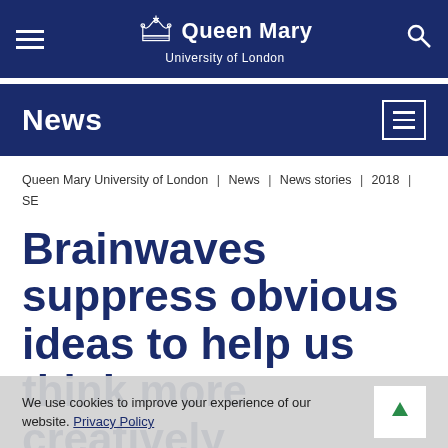[Figure (logo): Queen Mary University of London logo with crown icon, white text on dark blue navigation bar, with hamburger menu icon on left and search icon on right]
News
Queen Mary University of London | News | News stories | 2018 | SE
Brainwaves suppress obvious ideas to help us think more creatively
We use cookies to improve your experience of our website. Privacy Policy